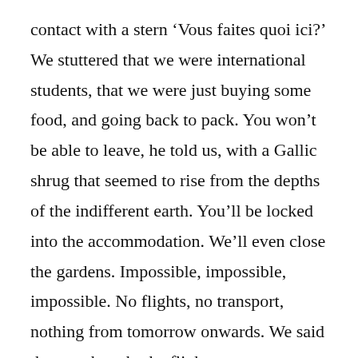contact with a stern ‘Vous faites quoi ici?’ We stuttered that we were international students, that we were just buying some food, and going back to pack. You won’t be able to leave, he told us, with a Gallic shrug that seemed to rise from the depths of the indifferent earth. You’ll be locked into the accommodation. We’ll even close the gardens. Impossible, impossible, impossible. No flights, no transport, nothing from tomorrow onwards. We said that we thought the flights were continuing, and ended the conversation as quickly as possible